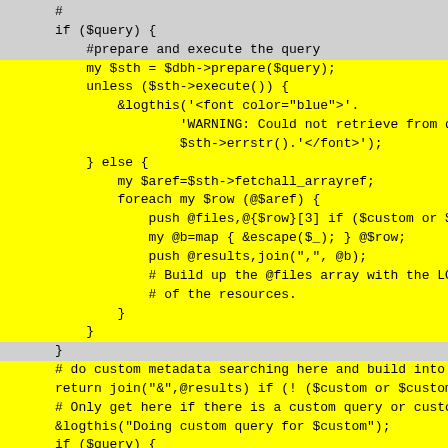#
if ($query) {
    #prepare and execute the query
my $sth = $dbh->prepare($query);
    unless ($sth->execute()) {
        &logthis('<font color="blue">'.
                'WARNING: Could not retrieve from database:'.
                $sth->errstr().'</font>');
    } else {
        my $aref=$sth->fetchall_arrayref;
        foreach my $row (@$aref) {
            push @files,@{$row}[3] if ($custom or $customshow);
            my @b=map { &escape($_); } @$row;
            push @results,join(",", @b);
            # Build up the @files array with the LON-CAPA urls
            # of the resources.
        }
    }
}
# do custom metadata searching here and build into result
return join("&",@results) if (! ($custom or $customshow));
# Only get here if there is a custom query or custom show request
&logthis("Doing custom query for $custom");
if ($query) {
    @metalist=map {
        $perlvar{'lonDocRoot'}.$_.'meta';
    } @files;
} else {
    my $dir = "$perlvar{'lonDocRoot'}/res/$perlvar{'lonDefDomain'}";
    @metalist=();
    ... (RESOURCES &.)